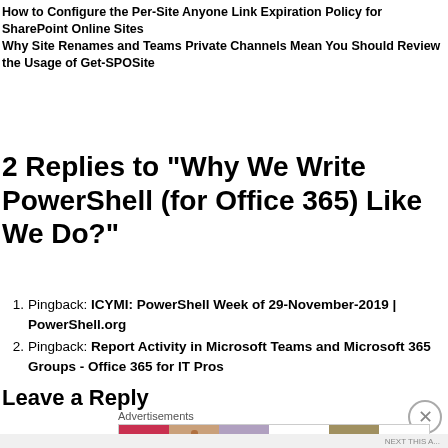How to Configure the Per-Site Anyone Link Expiration Policy for SharePoint Online Sites
Why Site Renames and Teams Private Channels Mean You Should Review the Usage of Get-SPOSite
2 Replies to “Why We Write PowerShell (for Office 365) Like We Do?”
Pingback: ICYMI: PowerShell Week of 29-November-2019 | PowerShell.org
Pingback: Report Activity in Microsoft Teams and Microsoft 365 Groups - Office 365 for IT Pros
Leave a Reply
[Figure (other): Ulta Beauty advertisement banner with makeup imagery and SHOP NOW call to action]